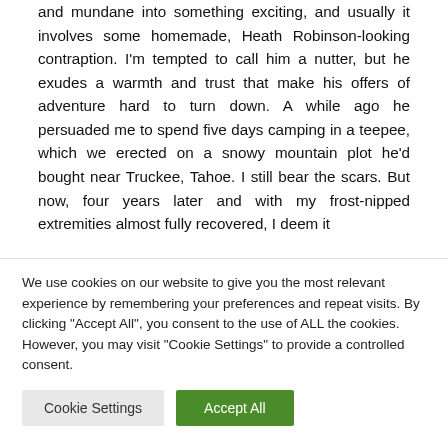and mundane into something exciting, and usually it involves some homemade, Heath Robinson-looking contraption. I'm tempted to call him a nutter, but he exudes a warmth and trust that make his offers of adventure hard to turn down. A while ago he persuaded me to spend five days camping in a teepee, which we erected on a snowy mountain plot he'd bought near Truckee, Tahoe. I still bear the scars. But now, four years later and with my frost-nipped extremities almost fully recovered, I deem it
We use cookies on our website to give you the most relevant experience by remembering your preferences and repeat visits. By clicking "Accept All", you consent to the use of ALL the cookies. However, you may visit "Cookie Settings" to provide a controlled consent.